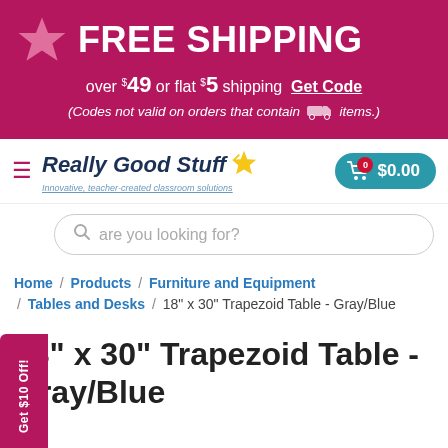[Figure (infographic): Pink/magenta banner with star icon and FREE SHIPPING text, subtext about $49 or flat $5 shipping with Get Code link and note about freight items]
[Figure (logo): Really Good Stuff logo with yellow star and tagline 'Innovative, teacher-created classroom solutions', hamburger menu icon, and teal cart button showing $0.00]
[Figure (screenshot): Search bar with placeholder text 'are you looking for?' and a Get $10 Off vertical tab on the left]
Home / Products / Furniture and Equipment / Tables and Desks / 18" x 30" Trapezoid Table - Gray/Blue
18" x 30" Trapezoid Table - Gray/Blue